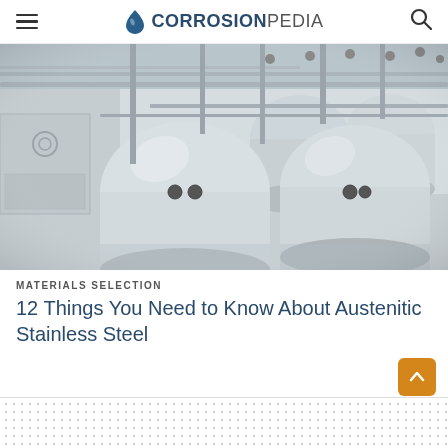CORROSIONPEDIA
[Figure (photo): Industrial stainless steel pressure vessels/tanks with piping and valves in a manufacturing facility]
MATERIALS SELECTION
12 Things You Need to Know About Austenitic Stainless Steel